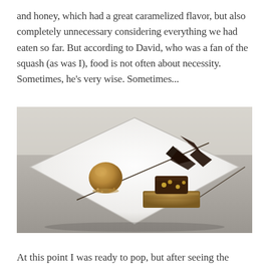and honey, which had a great caramelized flavor, but also completely unnecessary considering everything we had eaten so far. But according to David, who was a fan of the squash (as was I), food is not often about necessity. Sometimes, he's very wise. Sometimes...
[Figure (photo): A restaurant dessert plate with a chocolate tart topped with dark chocolate shards and nuts on a crumble base, alongside a scoop of caramel ice cream, on a white square plate with chocolate sauce drizzled across it.]
At this point I was ready to pop, but after seeing the